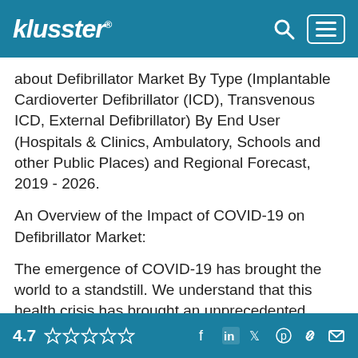klusster
about Defibrillator Market By Type (Implantable Cardioverter Defibrillator (ICD), Transvenous ICD, External Defibrillator) By End User (Hospitals & Clinics, Ambulatory, Schools and other Public Places) and Regional Forecast, 2019 - 2026.
An Overview of the Impact of COVID-19 on Defibrillator Market:
The emergence of COVID-19 has brought the world to a standstill. We understand that this health crisis has brought an unprecedented impact on businesses across industries. However, this too shall pass. Rising support from governments and several companies can help in the fight against this
4.7 ☆☆☆☆☆